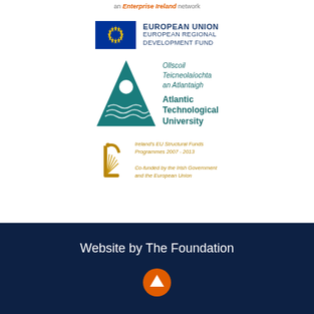an Enterprise Ireland network
[Figure (logo): European Union European Regional Development Fund logo with EU flag (blue background with yellow stars circle)]
[Figure (logo): Atlantic Technological University logo - teal triangle with wave design and white circle, with Irish name Ollscoil Teicneolaíochta an Atlantaigh and English name Atlantic Technological University]
[Figure (logo): Ireland's EU Structural Funds Programmes 2007-2013 logo with golden harp. Text: Co-funded by the Irish Government and the European Union]
Website by The Foundation